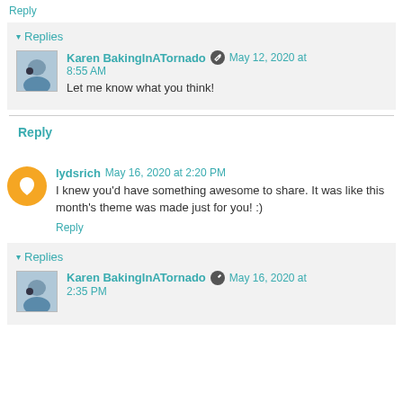Reply
Replies
Karen BakingInATornado  May 12, 2020 at 8:55 AM
Let me know what you think!
Reply
lydsrich  May 16, 2020 at 2:20 PM
I knew you'd have something awesome to share. It was like this month's theme was made just for you! :)
Reply
Replies
Karen BakingInATornado  May 16, 2020 at 2:35 PM